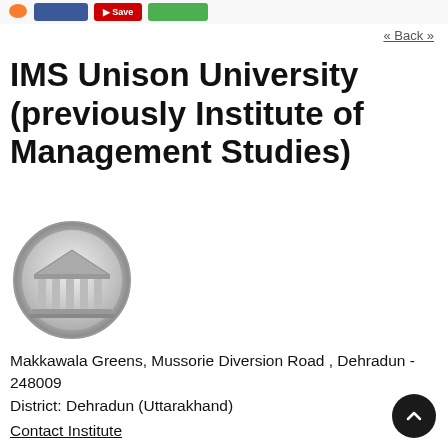« Back »
IMS Unison University (previously Institute of Management Studies)
[Figure (logo): Circular silver/grey university logo featuring a classical building with columns (pillared hall/temple) icon, metallic styled with grey gradient border.]
Makkawala Greens, Mussorie Diversion Road , Dehradun - 248009
District: Dehradun (Uttarakhand)
Contact Institute
✏ Reviews